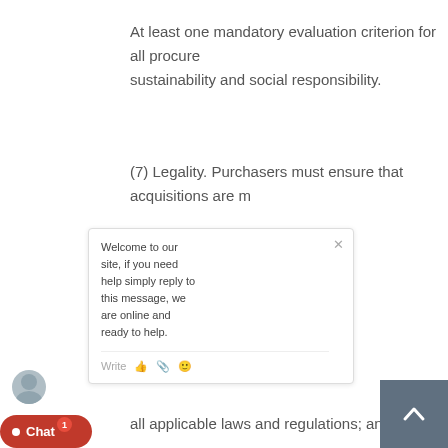At least one mandatory evaluation criterion for all procure sustainability and social responsibility.
(7) Legality. Purchasers must ensure that acquisitions are m
a.
all applicable laws and regulations; and
a.
e organisation rules, policies and procedures.
r behaviour
erson undertaking procurement activities t d, in particular: